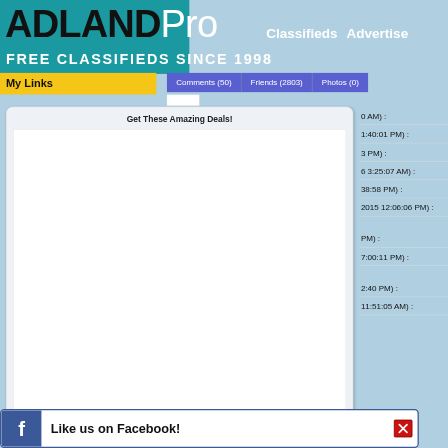[Figure (screenshot): ADLANDPro website screenshot showing the header with logo, tagline FREE CLASSIFIEDS SINCE 1998, navigation links Classifieds and Advertise, My Links yellow bar, tab bar with Comments (50), Friends (2803), Photos (0), a deals panel titled Get These Amazing Deals! with white content area, right side showing truncated timestamps, and a Facebook Like us on Facebook! bar at the bottom with a close X button]